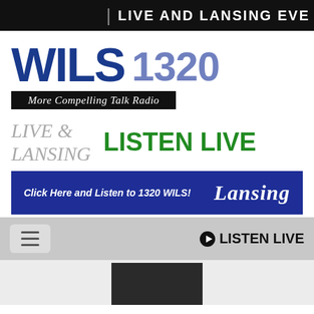LIVE AND LANSING EVE
[Figure (logo): WILS 1320 More Compelling Talk Radio logo — WILS in large dark blue bold letters, 1320 in large light blue bold letters, tagline 'More Compelling Talk Radio' on a black bar in white italic serif text]
LIVE &
LANSING
LISTEN LIVE
[Figure (infographic): Dark blue banner reading 'Click Here and Listen to 1320 WILS!' on the left in white bold italic, and 'Lansing' in large white italic serif on the right]
⊙ LISTEN LIVE
[Figure (photo): Partial view of a dark-haired person at the bottom of the page]